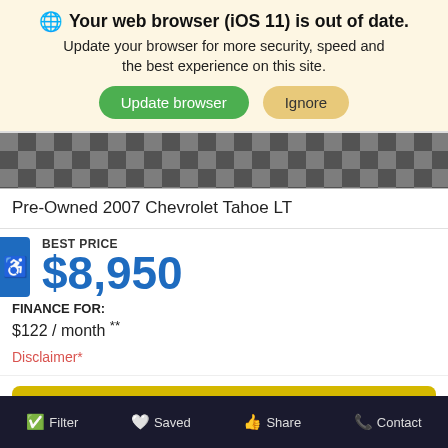Your web browser (iOS 11) is out of date. Update your browser for more security, speed and the best experience on this site. Update browser | Ignore
[Figure (photo): Partial view of a car (checkered pattern background), cropped automotive photo]
Pre-Owned 2007 Chevrolet Tahoe LT
BEST PRICE $8,950
FINANCE FOR: $122 / month **
Disclaimer*
TEXT ME THE BEST PRICE
GET BEST PRICE
Filter | Saved | Share | Contact